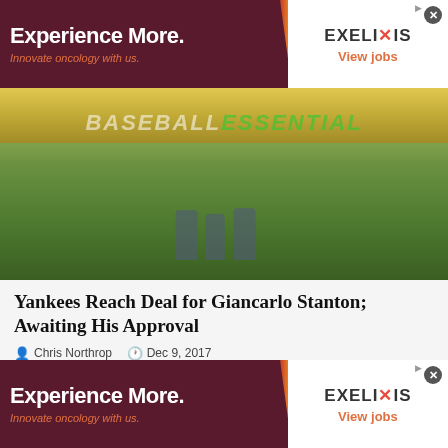[Figure (infographic): Exelixis advertisement banner: dark maroon left side with 'Experience More.' in white bold text and 'Innovate oncology with us.' in orange italic, orange/red diagonal divider, white right side with EXELIXIS logo and 'View jobs' in orange]
[Figure (photo): Baseball stadium photo showing green field with players on it, yellow stadium seats in background, and 'BASEBALLESSEN TIAL' text overlay]
Yankees Reach Deal for Giancarlo Stanton; Awaiting His Approval
Chris Northrop   Dec 9, 2017
American League, American League East, Breaking News, Headlines, Major League Baseball, Miami Marlins, National League, National League East, New York Yankees, Offseason, Rumors, Transactions
[Figure (infographic): Exelixis advertisement banner (repeat): dark maroon left side with 'Experience More.' in white bold text and 'Innovate oncology with us.' in orange italic, orange/red diagonal divider, white right side with EXELIXIS logo and 'View jobs' in orange]